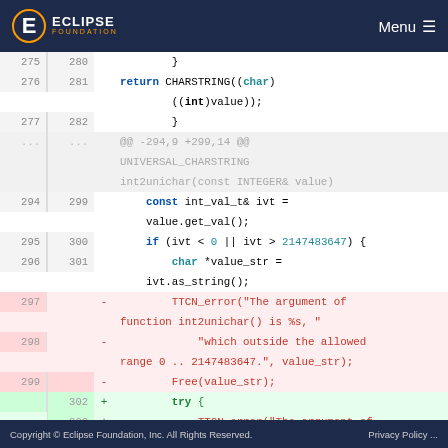Eclipse Foundation — Menu
[Figure (screenshot): Code diff view showing C++ source code changes in Eclipse Foundation web viewer. Lines 275-303 shown with removed lines (pink background) and added lines (green background). Removed lines show TTCN_error calls with string messages about int2unichar range. Added lines show try { and TTCN_error replacement.]
Copyright © Eclipse Foundation, Inc. All Rights Reserved.   Privacy Policy ...